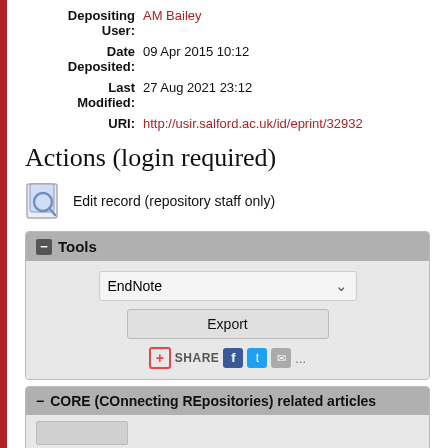Depositing User: AM Bailey
Date Deposited: 09 Apr 2015 10:12
Last Modified: 27 Aug 2021 23:12
URI: http://usir.salford.ac.uk/id/eprint/32932
Actions (login required)
Edit record (repository staff only)
Tools — EndNote Export Share
CORE (COnnecting REpositories) related articles